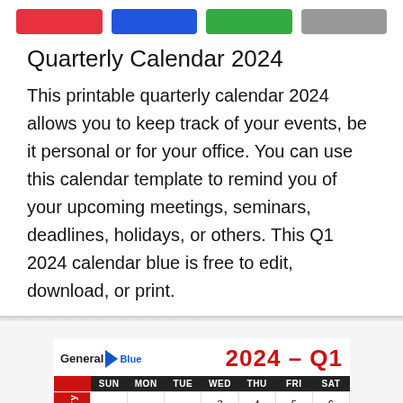[Figure (other): Four colored buttons: red, blue, green, gray]
Quarterly Calendar 2024
This printable quarterly calendar 2024 allows you to keep track of your events, be it personal or for your office. You can use this calendar template to remind you of your upcoming meetings, seminars, deadlines, holidays, or others. This Q1 2024 calendar blue is free to edit, download, or print.
[Figure (other): General Blue 2024 Q1 quarterly calendar preview showing January with dates 1-13 visible, with SUN MON TUE WED THU FRI SAT headers]